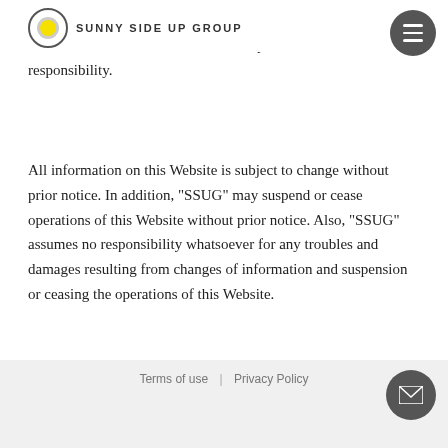SUNNY SIDE UP GROUP
out of content. People using information obtained from this site do so based on their own choice and upon their own responsibility.
All information on this Website is subject to change without prior notice. In addition, "SSUG" may suspend or cease operations of this Website without prior notice. Also, "SSUG" assumes no responsibility whatsoever for any troubles and damages resulting from changes of information and suspension or ceasing the operations of this Website.
Terms of use  |  Privacy Policy